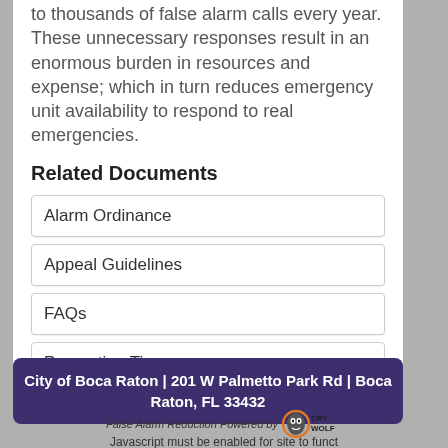to thousands of false alarm calls every year. These unnecessary responses result in an enormous burden in resources and expense; which in turn reduces emergency unit availability to respond to real emergencies.
Related Documents
Alarm Ordinance
Appeal Guidelines
FAQs
Prevention Tips
City of Boca Raton | 201 W Palmetto Park Rd | Boca Raton, FL 33432
False Alarm Reduction Powered by CryWolf
Javascript must be enabled for site to funct